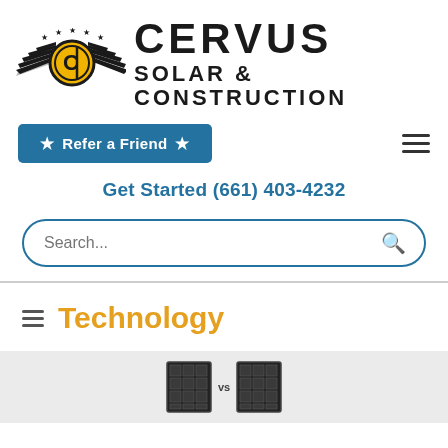[Figure (logo): Cervus Solar & Construction logo with winged emblem and text]
★ Refer a Friend ★
Get Started (661) 403-4232
Search...
Technology
[Figure (illustration): Two solar panel icons with VS text between them]